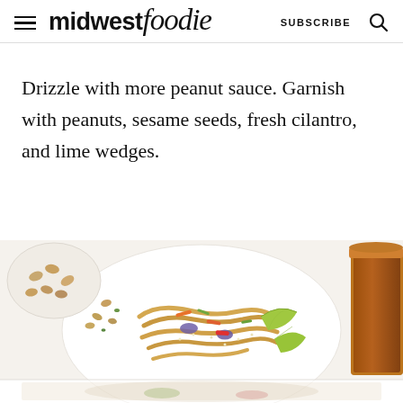midwest foodie | SUBSCRIBE
Drizzle with more peanut sauce. Garnish with peanuts, sesame seeds, fresh cilantro, and lime wedges.
[Figure (photo): A white plate of noodles with colorful vegetables, peanuts, sesame seeds, and lime wedges, with a bowl of peanuts and a jar of peanut sauce in the background on a white surface. The bottom portion shows a blurred/reflected continuation of the food photo.]